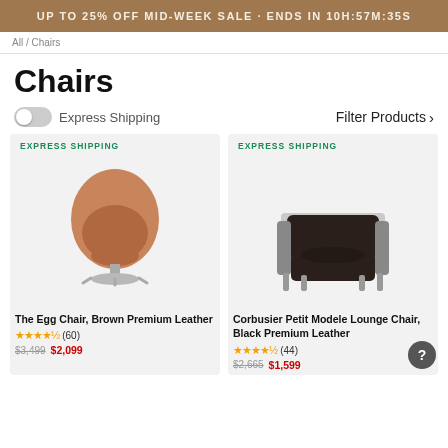UP TO 25% OFF MID-WEEK SALE · ENDS IN 10H:57M:35S
All / Chairs
Chairs
Express Shipping   Filter Products ›
[Figure (photo): The Egg Chair, Brown Premium Leather with EXPRESS SHIPPING tag]
[Figure (photo): Corbusier Petit Modele Lounge Chair, Black Premium Leather with EXPRESS SHIPPING tag]
The Egg Chair, Brown Premium Leather
★★★★½ (60)
$3,499  $2,099
Corbusier Petit Modele Lounge Chair, Black Premium Leather
★★★★½ (44)
$2,665  $1,599